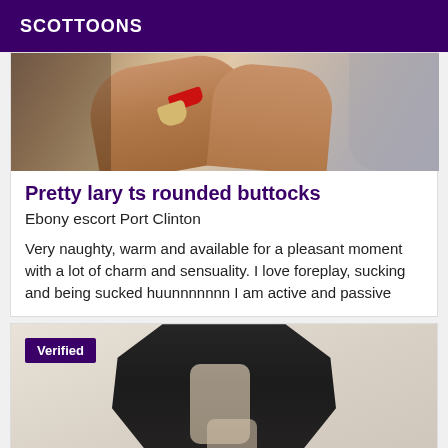SCOTTOONS
[Figure (photo): Cropped photo showing legs and high heeled shoes (red heels, nude/beige platform) of a person near outdoor furniture and a decorative column]
Pretty lary ts rounded buttocks
Ebony escort Port Clinton
Very naughty, warm and available for a pleasant moment with a lot of charm and sensuality. I love foreplay, sucking and being sucked huunnnnnnn I am active and passive
[Figure (photo): Photo of a person wearing an open dark/black robe or jacket, partially unclothed, against a light beige background. A 'Verified' badge is overlaid in the top-left corner.]